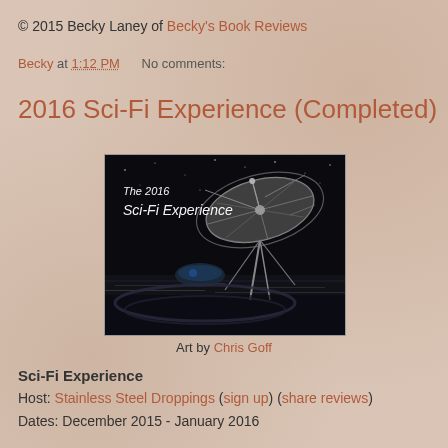© 2015 Becky Laney of Becky's Book Reviews
Becky at 1:12 PM   No comments:
2016 Sci-Fi Experience (Completed)
[Figure (photo): The 2016 Sci-Fi Experience promotional image showing a large satellite dish against a dark night sky with futuristic city lights below. Text reads 'The 2016 Sci-Fi Experience'.]
Art by Chris Goff
Sci-Fi Experience
Host: Stainless Steel Droppings (sign up) (share reviews)
Dates: December 2015 - January 2016